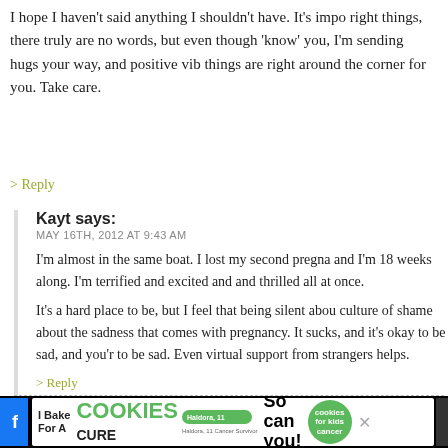I hope I haven't said anything I shouldn't have. It's important to say the right things, there truly are no words, but even though I don't really 'know' you, I'm sending hugs your way, and positive vibes that good things are right around the corner for you. Take care.
> Reply
Kayt says:
MAY 16TH, 2012 AT 9:43 AM
I'm almost in the same boat. I lost my second pregnancy and I'm 18 weeks along. I'm terrified and excited and and thrilled all at once.
It's a hard place to be, but I feel that being silent about it creates a culture of shame about the sadness that comes with pregnancy. It sucks, and it's okay to be sad, and you're allowed to be sad. Even virtual support from strangers helps.
> Reply
[Figure (screenshot): Advertisement banner: 'I Bake COOKIES For A CURE' with Haldora, 11 Cancer Survivor, 'So can you!' and cookies for kids cancer badge, with close buttons]